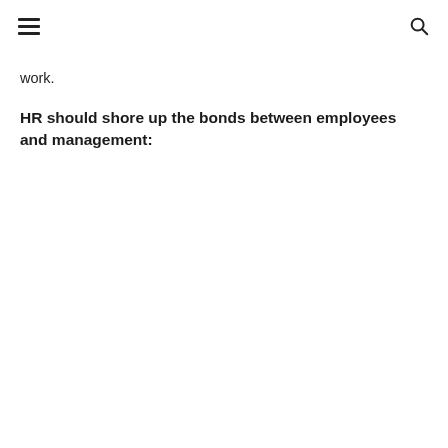[hamburger menu] [search icon]
work.
HR should shore up the bonds between employees and management: